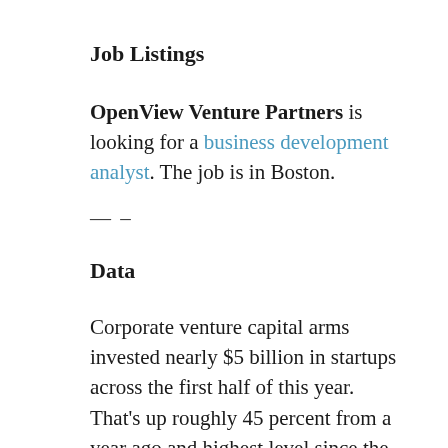Job Listings
OpenView Venture Partners is looking for a business development analyst. The job is in Boston.
— –
Data
Corporate venture capital arms invested nearly $5 billion in startups across the first half of this year. That's up roughly 45 percent from a year ago and highest level since the go-go dot